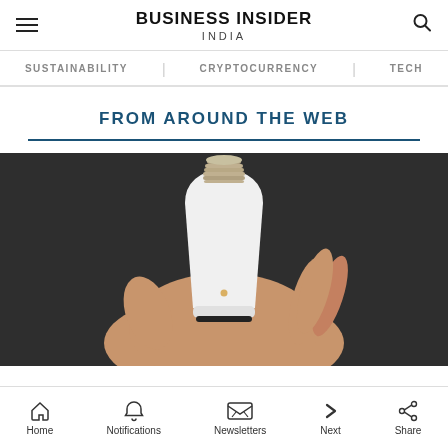BUSINESS INSIDER INDIA
SUSTAINABILITY   CRYPTOCURRENCY   TECH
FROM AROUND THE WEB
[Figure (photo): A hand holding a white smart LED light bulb upright against a dark background, showing the screw base at the top and the bulb body below.]
Home   Notifications   Newsletters   Next   Share